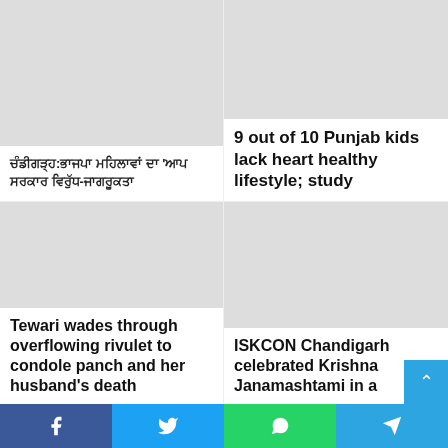ਚੰਡੀਗੜ੍ਹ:ਭਾਜਪਾ ਮਹਿਲਾਵਾਂ ਦਾ 'ਆਪ ਸਰਕਾਰ ਵਿਰੁੱਧ-ਜਾਗਰੂਕਤਾ
9 out of 10 Punjab kids lack heart healthy lifestyle; study
Tewari wades through overflowing rivulet to condole panch and her husband's death
ISKCON Chandigarh celebrated Krishna Janamashtami in a
[Figure (screenshot): Social share bar with Facebook, Twitter, WhatsApp, Telegram buttons]
[Figure (other): Scroll to top button]